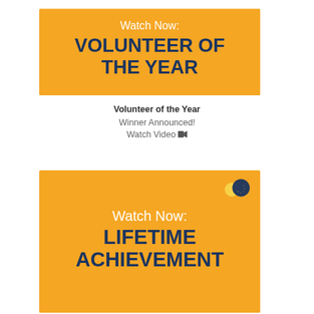[Figure (other): Orange banner card with text 'Watch Now: VOLUNTEER OF THE YEAR' in white and dark navy on orange background, with hamburger menu lines on right side]
Volunteer of the Year
Winner Announced!
Watch Video 🎬
[Figure (other): Orange banner card with text 'Watch Now: LIFETIME ACHIEVEMENT' in white and dark navy on orange background, with decorative yellow and navy circles in top right corner]